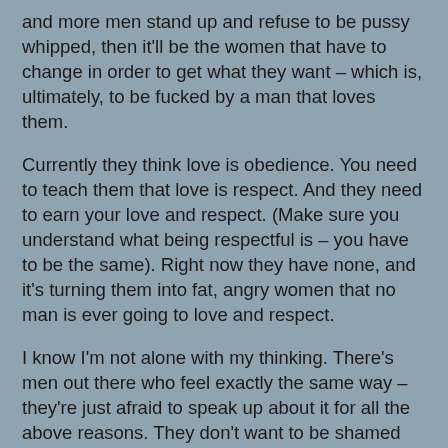and more men stand up and refuse to be pussy whipped, then it'll be the women that have to change in order to get what they want – which is, ultimately, to be fucked by a man that loves them.
Currently they think love is obedience. You need to teach them that love is respect. And they need to earn your love and respect. (Make sure you understand what being respectful is – you have to be the same). Right now they have none, and it's turning them into fat, angry women that no man is ever going to love and respect.
I know I'm not alone with my thinking. There's men out there who feel exactly the same way – they're just afraid to speak up about it for all the above reasons. They don't want to be shamed and flamed for their opinions.
But there's strength in crowds. More and more men need to step up and join the crowd.
And women too! I know there's plenty of women who think feminism is a very bad idea, because it makes it difficult for